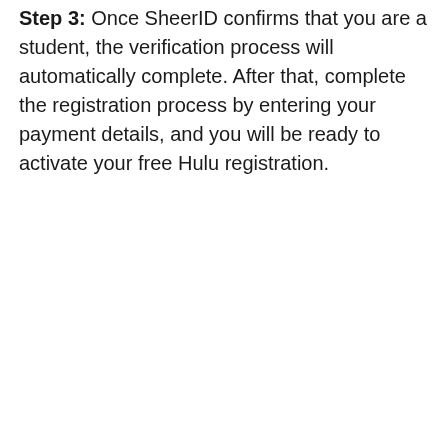Step 3: Once SheerID confirms that you are a student, the verification process will automatically complete. After that, complete the registration process by entering your payment details, and you will be ready to activate your free Hulu registration.